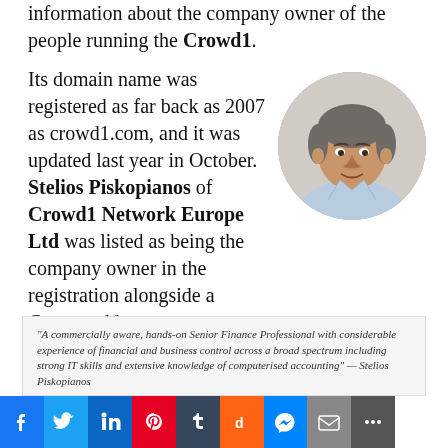information about the company owner of the people running the Crowd1.
Its domain name was registered as far back as 2007 as crowd1.com, and it was updated last year in October. Stelios Piskopianos of Crowd1 Network Europe Ltd was listed as being the company owner in the registration alongside a Cyprus address.
[Figure (photo): Circular headshot photo of Stelios Piskopianos, a middle-aged man with short gray hair wearing a light blue shirt, photographed against a light background.]
Piskopianos appears to have a background in financial services, based on his profile on LinkedIn, where he described himself as …
"A commercially aware, hands-on Senior Finance Professional with considerable experience of financial and business control across a broad spectrum including strong IT skills and extensive knowledge of computerised accounting" — Stelios Piskopianos
Social sharing bar: Facebook, Twitter, LinkedIn, Pinterest, Tumblr, Digg, Messenger, Email, More, Share count